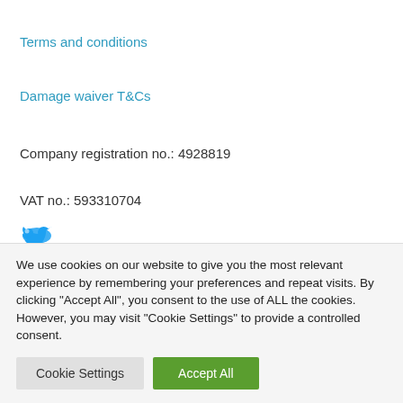Terms and conditions
Damage waiver T&Cs
Company registration no.: 4928819
VAT no.: 593310704
[Figure (logo): Twitter bird logo icon in blue, partially visible]
We use cookies on our website to give you the most relevant experience by remembering your preferences and repeat visits. By clicking "Accept All", you consent to the use of ALL the cookies. However, you may visit "Cookie Settings" to provide a controlled consent.
Cookie Settings
Accept All